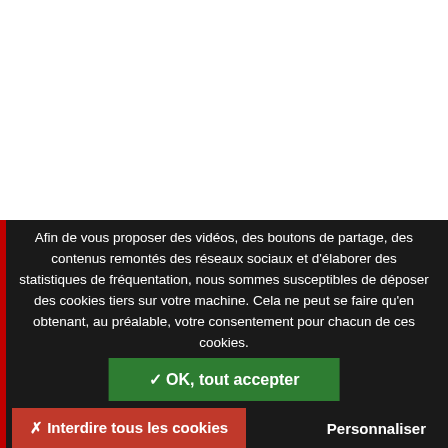[Figure (screenshot): White background top section of a webpage with faint content visible]
Afin de vous proposer des vidéos, des boutons de partage, des contenus remontés des réseaux sociaux et d'élaborer des statistiques de fréquentation, nous sommes susceptibles de déposer des cookies tiers sur votre machine. Cela ne peut se faire qu'en obtenant, au préalable, votre consentement pour chacun de ces cookies.
✓ OK, tout accepter
✗ Interdire tous les cookies
Personnaliser